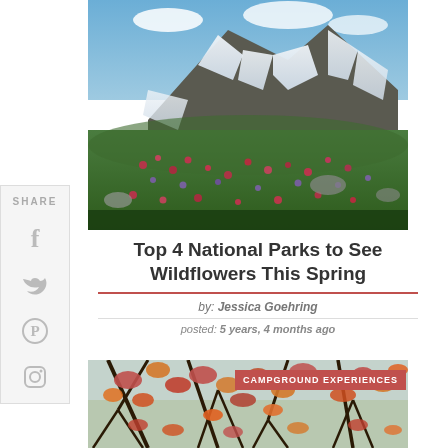[Figure (photo): Mountain landscape with snow and wildflowers in foreground]
Top 4 National Parks to See Wildflowers This Spring
by: Jessica Goehring
posted: 5 years, 4 months ago
[Figure (photo): Autumn foliage with orange and red leaves on tree branches, with CAMPGROUND EXPERIENCES badge overlay]